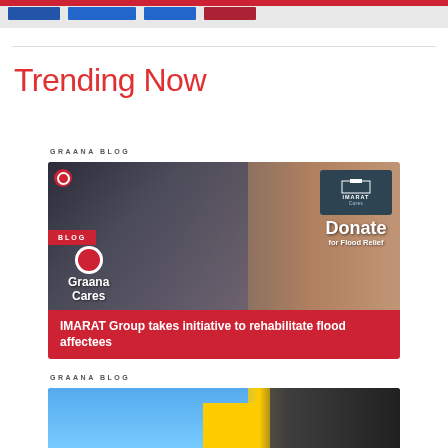Navigation bar with colored buttons
Trending Now
GRAANA BLOG
[Figure (photo): Photo of office/charity event with IMARAT Cares Donate for Flood Relief box and Graana Cares branding overlay, with BLOG badge]
IMARAT Group takes initiative to rehabilitate flood affectees
GRAANA BLOG
[Figure (photo): Photo of modern building with blue sky and yellow architectural elements]